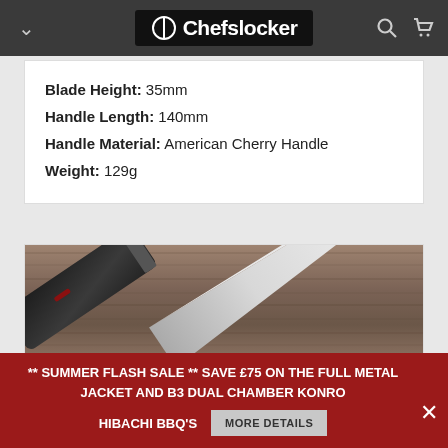Chefslocker
Blade Height: 35mm
Handle Length: 140mm
Handle Material: American Cherry Handle
Weight: 129g
[Figure (photo): Close-up photo of a kitchen knife with black handle resting on a wooden surface]
** SUMMER FLASH SALE ** SAVE £75 ON THE FULL METAL JACKET AND B3 DUAL CHAMBER KONRO HIBACHI BBQ'S